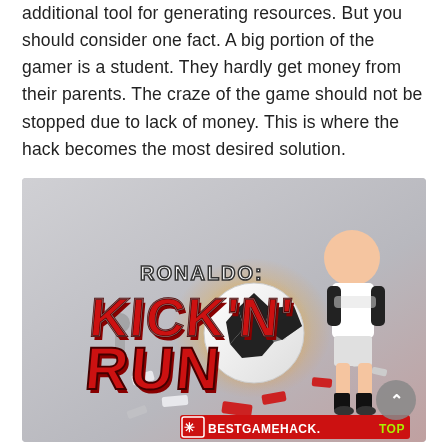additional tool for generating resources. But you should consider one fact. A big portion of the gamer is a student. They hardly get money from their parents. The craze of the game should not be stopped due to lack of money. This is where the hack becomes the most desired solution.
[Figure (screenshot): Screenshot of the mobile game 'Ronaldo: Kick 'N' Run' showing the game logo in bold red letters with a soccer ball and a cartoon figure of Ronaldo. The bottom right shows a 'BESTGAMEHACK.TOP' watermark with a red button.]